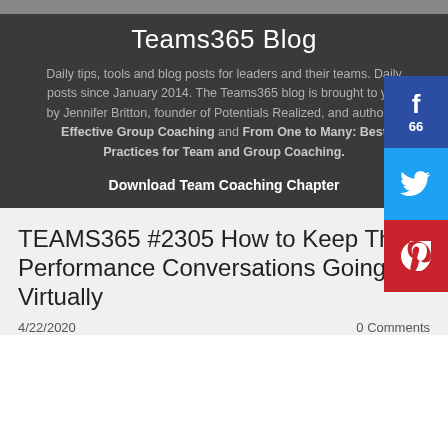Teams365 Blog
Daily tips, tools and blog posts for leaders and their teams. Daily posts since January 2014. The Teams365 blog is brought to you by Jennifer Britton, founder of Potentials Realized, and author of Effective Group Coaching and From One to Many: Best Practices for Team and Group Coaching.
Download Team Coaching Chapter
TEAMS365 #2305 How to Keep The Performance Conversations Going Virtually
4/22/2020
0 Comments